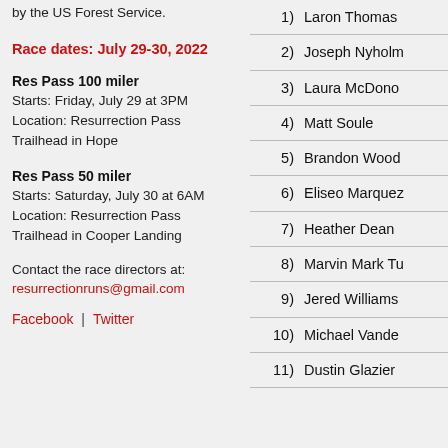by the US Forest Service.
Race dates: July 29-30, 2022
Res Pass 100 miler
Starts: Friday, July 29 at 3PM
Location: Resurrection Pass Trailhead in Hope
Res Pass 50 miler
Starts: Saturday, July 30 at 6AM
Location: Resurrection Pass Trailhead in Cooper Landing
Contact the race directors at:
resurrectionruns@gmail.com
Facebook | Twitter
1) Laron Thomas
2) Joseph Nyholm
3) Laura McDono
4) Matt Soule
5) Brandon Wood
6) Eliseo Marquez
7) Heather Dean
8) Marvin Mark Tu
9) Jered Williams
10) Michael Vande
11) Dustin Glazier